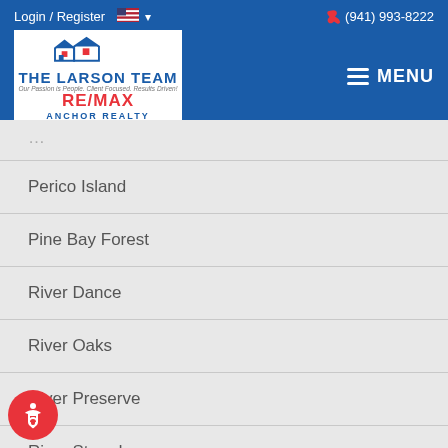Login / Register  (941) 993-8222  MENU
[Figure (logo): The Larson Team RE/MAX Anchor Realty logo with house silhouettes]
Perico Island
Pine Bay Forest
River Dance
River Oaks
River Preserve
River Strand
River Yacht & Racquet Club
Sabal Palm Gardens